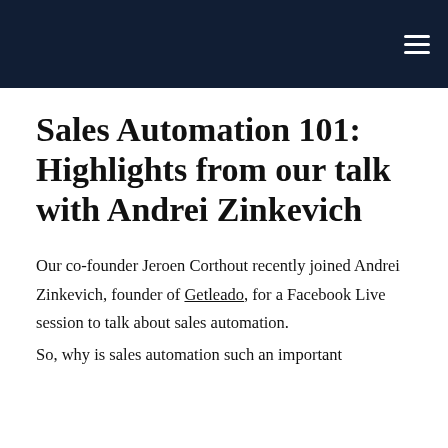≡
Sales Automation 101: Highlights from our talk with Andrei Zinkevich
Our co-founder Jeroen Corthout recently joined Andrei Zinkevich, founder of Getleado, for a Facebook Live session to talk about sales automation.
So, why is sales automation such an important